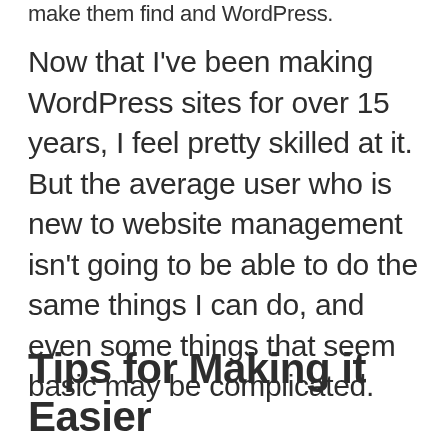make them find and WordPress.
Now that I've been making WordPress sites for over 15 years, I feel pretty skilled at it. But the average user who is new to website management isn't going to be able to do the same things I can do, and even some things that seem basic may be complicated.
Tips for Making it Easier